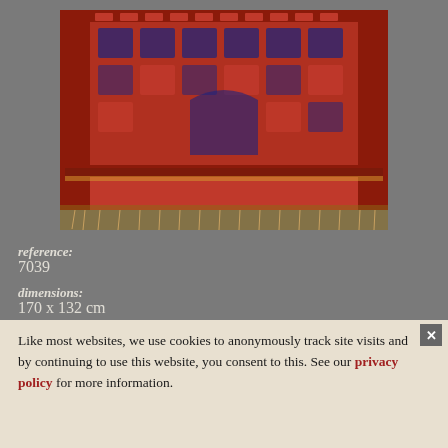[Figure (photo): Photograph of a traditional Central Asian or Turkmen prayer rug with intricate geometric and floral patterns in deep red, dark blue, and orange tones, viewed at a slight angle showing the bottom edge with fringe.]
reference: 7039
dimensions: 170 x 132 cm
Like most websites, we use cookies to anonymously track site visits and by continuing to use this website, you consent to this. See our privacy policy for more information.